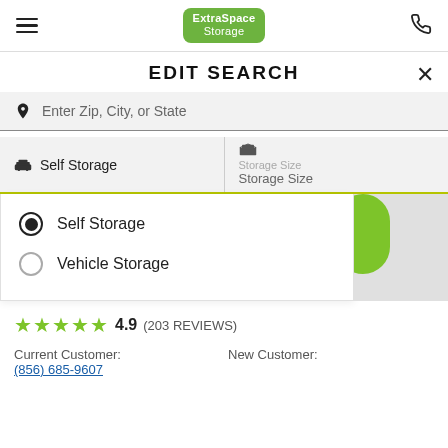[Figure (logo): Extra Space Storage logo in green badge]
EDIT SEARCH
Enter Zip, City, or State
Self Storage | Storage Size / Storage Size
Self Storage (selected radio)
Vehicle Storage
★★★★★ 4.9 (203 REVIEWS)
Current Customer:
New Customer:
(856) 685-9607